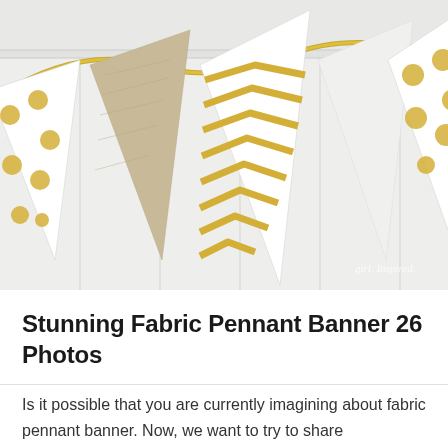[Figure (photo): Photo of decorative fabric pennant banners hanging on a string against a white beadboard wall. Pennants include gold polka dot on white, plain tan/burlap, gold and white chevron, solid white, and gold polka dot on white patterns. A gold metallic ribbon/string connects them. Watermark reads 'girl. Inspired.' in bottom right corner.]
Stunning Fabric Pennant Banner 26 Photos
Is it possible that you are currently imagining about fabric pennant banner. Now, we want to try to share